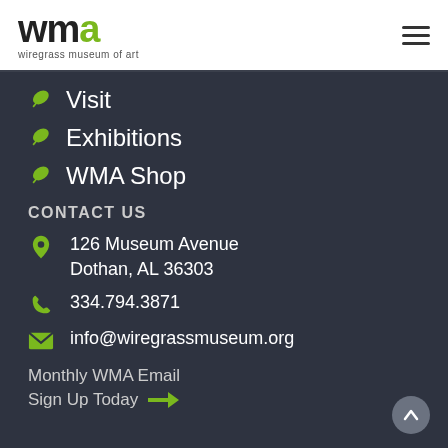[Figure (logo): WMA Wiregrass Museum of Art logo with a green leaf accent on the letter 'a', followed by a hamburger menu icon]
Visit
Exhibitions
WMA Shop
CONTACT US
126 Museum Avenue Dothan, AL 36303
334.794.3871
info@wiregrassmuseum.org
Monthly WMA Email
Sign Up Today →